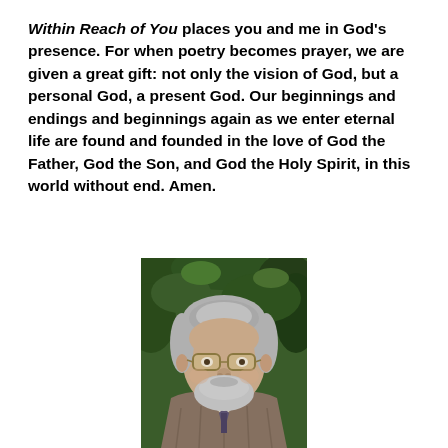Within Reach of You places you and me in God's presence. For when poetry becomes prayer, we are given a great gift: not only the vision of God, but a personal God, a present God. Our beginnings and endings and beginnings again as we enter eternal life are found and founded in the love of God the Father, God the Son, and God the Holy Spirit, in this world without end. Amen.
[Figure (photo): Headshot of an older man with gray hair and beard, wearing glasses and a plaid jacket with a tie, smiling, with green foliage in the background.]